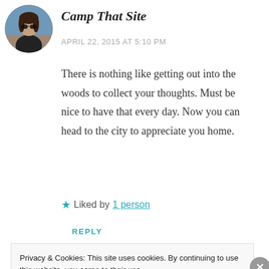[Figure (photo): Circular avatar photo of a woman wearing sunglasses outdoors]
Camp That Site
APRIL 22, 2015 AT 5:10 PM
There is nothing like getting out into the woods to collect your thoughts. Must be nice to have that every day. Now you can head to the city to appreciate you home.
★ Liked by 1 person
REPLY
Privacy & Cookies: This site uses cookies. By continuing to use this website, you agree to their use.
To find out more, including how to control cookies, see here: Cookie Policy
Close and accept